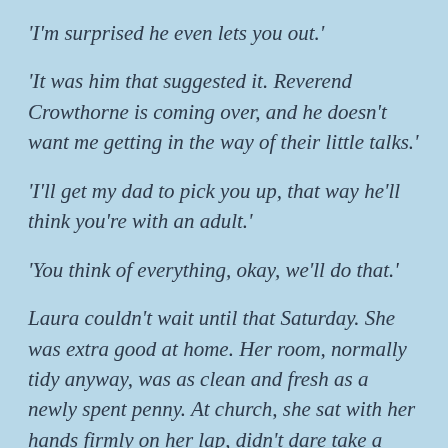‘I’m surprised he even lets you out.’
‘It was him that suggested it. Reverend Crowthorne is coming over, and he doesn’t want me getting in the way of their little talks.’
‘I’ll get my dad to pick you up, that way he’ll think you’re with an adult.’
‘You think of everything, okay, we’ll do that.’
Laura couldn’t wait until that Saturday. She was extra good at home. Her room, normally tidy anyway, was as clean and fresh as a newly spent penny. At church, she sat with her hands firmly on her lap, didn’t dare take a glance at Julie.
When the evening finally arrived, Laura waited by…